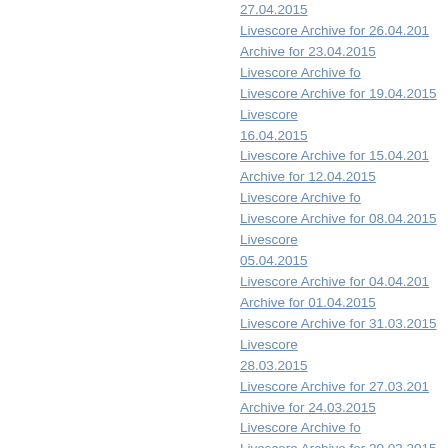27.04.2015  Livescore Archive for 26.04.2015  Livescore Archive for 23.04.2015  Livescore Archive for ... Livescore Archive for 19.04.2015  Livescore Archive for 16.04.2015  Livescore Archive for 15.04.2015  Livescore Archive for 12.04.2015  Livescore Archive for ... Livescore Archive for 08.04.2015  Livescore Archive for 05.04.2015  Livescore Archive for 04.04.2015  Livescore Archive for 01.04.2015  Livescore Archive for 31.03.2015  Livescore Archive for 28.03.2015  Livescore Archive for 27.03.2015  Livescore Archive for 24.03.2015  Livescore Archive for ... Livescore Archive for 20.03.2015  Livescore Archive for 17.03.2015  Livescore Archive for 16.03.2015  Livescore Archive for 13.03.2015  Livescore Archive for ... Livescore Archive for 09.03.2015  Livescore Archive for 06.03.2015  Livescore Archive for 05.03.2015  Livescore Archive for 02.03.2015  Livescore Archive for ... Livescore Archive for 28.02.2015  Livescore Archive for 25.02.2015  Livescore Archive for 24.02.2015  Livescore Archive for 21.02.2015  Livescore Archive for ... Livescore Archive for 17.02.2015  Livescore Archive for 14.02.2015  Livescore Archive for 13.02.2015  Livescore Archive for 10.02.2015  Livescore Archive for ... Livescore Archive for 06.02.2015  Livescore Archive for 03.02.2015  Livescore Archive for 02.02.2015